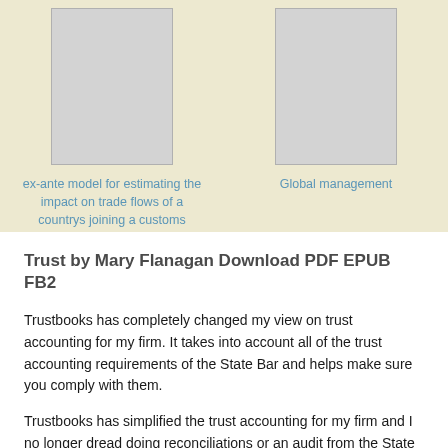[Figure (illustration): Book cover placeholder image (gray rectangle) on beige background, left column]
ex-ante model for estimating the impact on trade flows of a countrys joining a customs union.
[Figure (illustration): Book cover placeholder image (gray rectangle) on beige background, right column]
Global management
Trust by Mary Flanagan Download PDF EPUB FB2
Trustbooks has completely changed my view on trust accounting for my firm. It takes into account all of the trust accounting requirements of the State Bar and helps make sure you comply with them.
Trustbooks has simplified the trust accounting for my firm and I no longer dread doing reconciliations or an audit from the State Bar. The